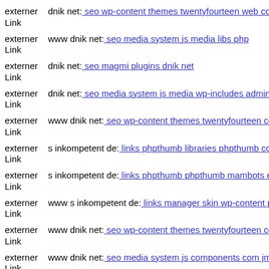externer Link dnik net: seo wp-content themes twentyfourteen web comp...
externer Link www dnik net: seo media system js media libs php
externer Link dnik net: seo magmi plugins dnik net
externer Link dnik net: seo media system js media wp-includes admin cm...
externer Link www dnik net: seo wp-content themes twentyfourteen core
externer Link s inkompetent de: links phpthumb libraries phpthumb comp...
externer Link s inkompetent de: links phpthumb phpthumb mambots edito...
externer Link www s inkompetent de: links manager skin wp-content plug...
externer Link www dnik net: seo wp-content themes twentyfourteen comp...
externer Link www dnik net: seo media system js components com jmulti...
externer Link dnik net: seo media components com jnewsletter includes s...